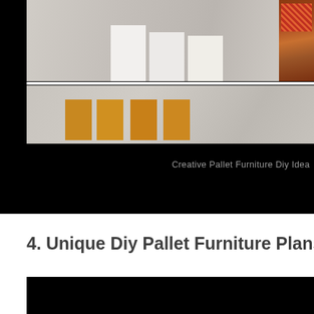[Figure (photo): Top section showing DIY pallet furniture photos on a wooden floor background, with a small side image visible at right edge. Second row shows wooden block/pallet pieces. The entire section has a black background with photo strips.]
Creative Pallet Furniture Diy Idea
4. Unique Diy Pallet Furniture Plans Pallets Desig
[Figure (photo): Large black image area at bottom representing a DIY pallet furniture photo (content mostly dark/black).]